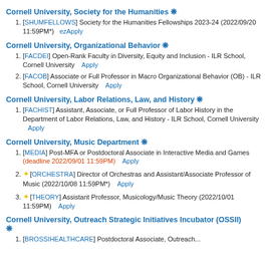Cornell University, Society for the Humanities ❋
[SHUMFELLOWS] Society for the Humanities Fellowships 2023-24 (2022/09/20 11:59PM*)   ezApply
Cornell University, Organizational Behavior ❋
[FACDEI] Open-Rank Faculty in Diversity, Equity and Inclusion - ILR School, Cornell University   Apply
[FACOB] Associate or Full Professor in Macro Organizational Behavior (OB) - ILR School, Cornell University   Apply
Cornell University, Labor Relations, Law, and History ❋
[FACHIST] Assistant, Associate, or Full Professor of Labor History in the Department of Labor Relations, Law, and History - ILR School, Cornell University   Apply
Cornell University, Music Department ❋
[MEDIA] Post-MFA or Postdoctoral Associate in Interactive Media and Games (deadline 2022/09/01 11:59PM)   Apply
★[ORCHESTRA] Director of Orchestras and Assistant/Associate Professor of Music (2022/10/08 11:59PM*)   Apply
★[THEORY] Assistant Professor, Musicology/Music Theory (2022/10/01 11:59PM)   Apply
Cornell University, Outreach Strategic Initiatives Incubator (OSSII) ❋
[BROSSIHEALTHCARE] Postdoctoral Associate, Outreach...